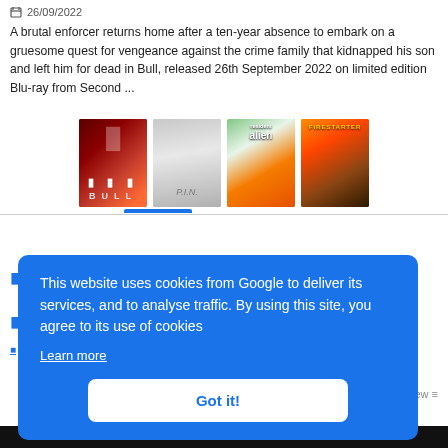26/09/2022
A brutal enforcer returns home after a ten-year absence to embark on a gruesome quest for vengeance against the crime family that kidnapped his son and left him for dead in Bull, released 26th September 2022 on limited edition Blu-ray from Second ...
[Figure (photo): Four movie poster thumbnails: Bull (dark red fiery background with man), a second film (grey tones, face close-up), 'Resident Alien' (orange/green gradient), and 'Firestarter' (orange fire with girl)]
This website uses cookies from Google to deliver its services, and to analyse traffic. By using this site, you agree to its use of cookies
Learn more
Got it!